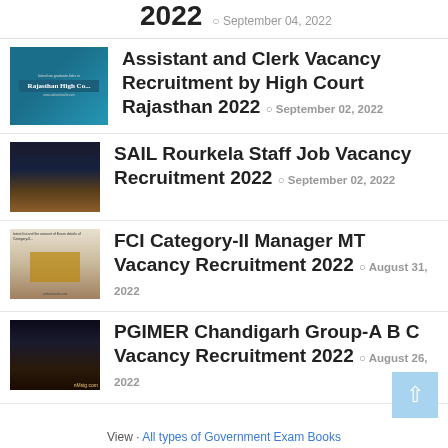2022  September 04, 2022
Assistant and Clerk Vacancy Recruitment by High Court Rajasthan 2022  September 02, 2022
SAIL Rourkela Staff Job Vacancy Recruitment 2022  September 02, 2022
FCI Category-II Manager MT Vacancy Recruitment 2022  August 31, 2022
PGIMER Chandigarh Group-A B C Vacancy Recruitment 2022  August 26, 2022
View  All types of Government Exam Books